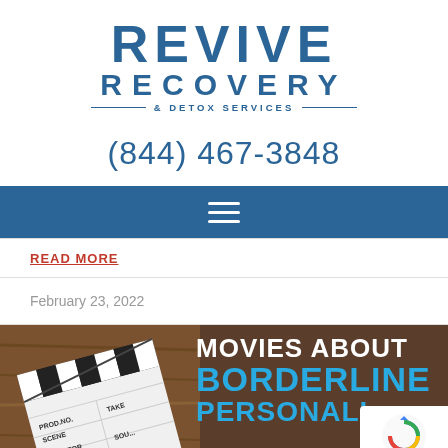[Figure (logo): Revive Recovery & Detox Services logo with blue text]
(844) 467-3848
[Figure (infographic): Navigation bar with hamburger menu icon on dark blue background]
READ MORE
February 23, 2022
[Figure (photo): Article thumbnail showing a movie clapperboard on wooden surface with text overlay reading 'MOVIES ABOUT BORDERLINE PERSONALITY']